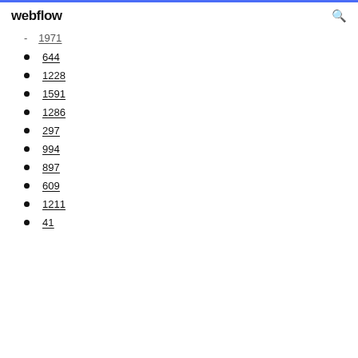webflow
1971
644
1228
1591
1286
297
994
897
609
1211
41